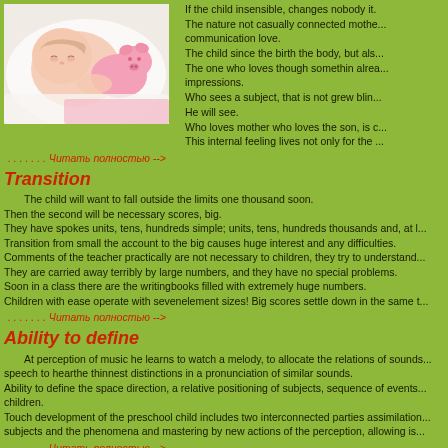[Figure (photo): A sleeping baby with a pink stuffed toy pig]
If the child insensible, changes nobody it. The nature not casually connected mother communication love. The child since the birth the body, but als... The one who loves though somethin alrea... impressions. Who sees a subject, that is not grew blin... He will see. Who loves mother who loves the son, is c... This internal feeling lives not only for the ...
. . . . . . . Читать полностью -->
Transition
The child will want to fall outside the limits one thousand soon.
Then the second will be necessary scores, big.
They have spokes units, tens, hundreds simple; units, tens, hundreds thousands and, at l...
Transition from small the account to the big causes huge interest and any difficulties.
Comments of the teacher practically are not necessary to children, they try to understand...
They are carried away terribly by large numbers, and they have no special problems.
Soon in a class there are the writingbooks filled with extremely huge numbers.
Children with ease operate with sevenelement sizes! Big scores settle down in the same t...
. . . . . . . Читать полностью -->
Ability to define
At perception of music he learns to watch a melody, to allocate the relations of sounds... speech to hearthe thinnest distinctions in a pronunciation of similar sounds.
Ability to define the space direction, a relative positioning of subjects, sequence of events... children.
Touch development of the preschool child includes two interconnected parties assimilation... subjects and the phenomena and mastering by new actions of the perception, allowing is...
. . . . . . . Читать полностью -->
Vo~pervykh, it places